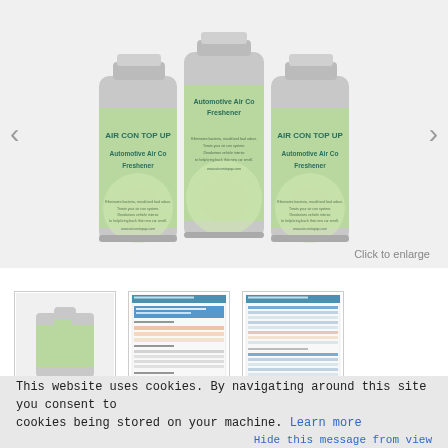[Figure (photo): Three aerosol cans of AIR CON TOP UP Automotive Air Con Freshener displayed together against a light grey background. The cans have green and white labels with decorative snowflake/floral patterns. Left and right navigation arrows are visible on the sides.]
Click to enlarge
[Figure (photo): Thumbnail of three AIR CON TOP UP aerosol cans side by side]
[Figure (screenshot): Thumbnail of a document page showing a guide or instruction sheet with orange/pink highlighted sections and tables]
[Figure (screenshot): Thumbnail of a document page showing a table/chart with blue header rows and data rows]
This website uses cookies. By navigating around this site you consent to cookies being stored on your machine. Learn more
Hide this message from view